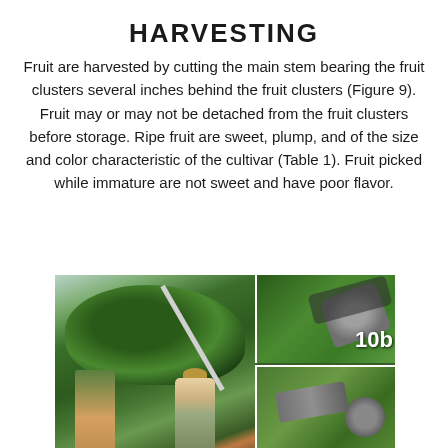HARVESTING
Fruit are harvested by cutting the main stem bearing the fruit clusters several inches behind the fruit clusters (Figure 9). Fruit may or may not be detached from the fruit clusters before storage. Ripe fruit are sweet, plump, and of the size and color characteristic of the cultivar (Table 1). Fruit picked while immature are not sweet and have poor flavor.
[Figure (photo): Composite of three photos showing lychee harvesting: left large photo shows a person using a long pole to harvest from a lychee tree; upper right photo labeled '10b' shows pruning shears cutting a branch with green leaves; lower right photo shows close-up of pruning shears on a branch.]